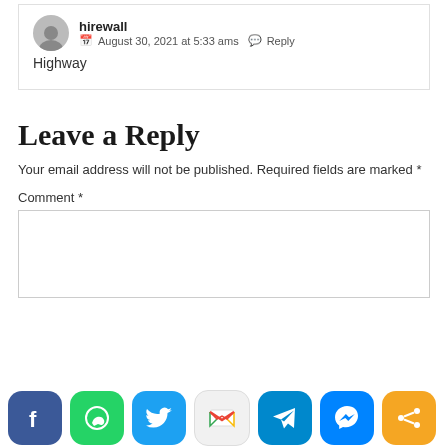hirewall
August 30, 2021 at 5:33 ams  Reply
Highway
Leave a Reply
Your email address will not be published. Required fields are marked *
Comment *
[Figure (other): Social sharing bar with Facebook, WhatsApp, Twitter, Gmail, Telegram, Messenger, and share icons]